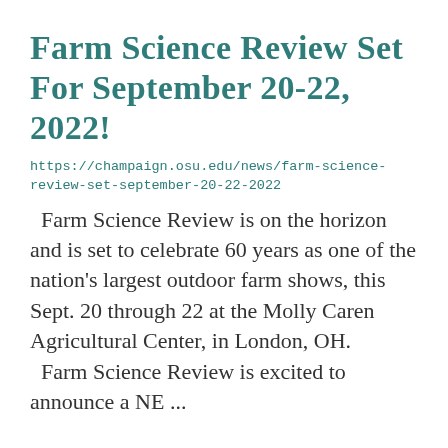Farm Science Review Set For September 20-22, 2022!
https://champaign.osu.edu/news/farm-science-review-set-september-20-22-2022
Farm Science Review is on the horizon and is set to celebrate 60 years as one of the nation's largest outdoor farm shows, this Sept. 20 through 22 at the Molly Caren Agricultural Center, in London, OH. Farm Science Review is excited to announce a NE ...
Sarah Longo
https://acel.osu.edu/our-people/sarah-longo